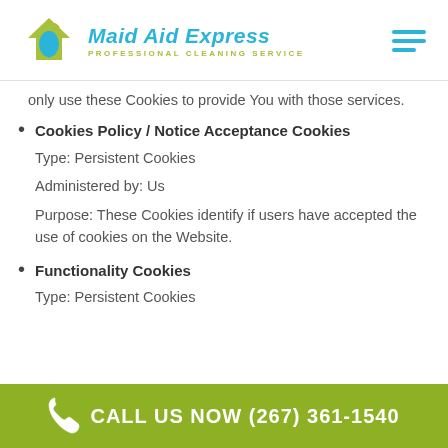Maid Aid Express — Professional Cleaning Service
only use these Cookies to provide You with those services.
Cookies Policy / Notice Acceptance Cookies

Type: Persistent Cookies

Administered by: Us

Purpose: These Cookies identify if users have accepted the use of cookies on the Website.
Functionality Cookies

Type: Persistent Cookies
CALL US NOW (267) 361-1540